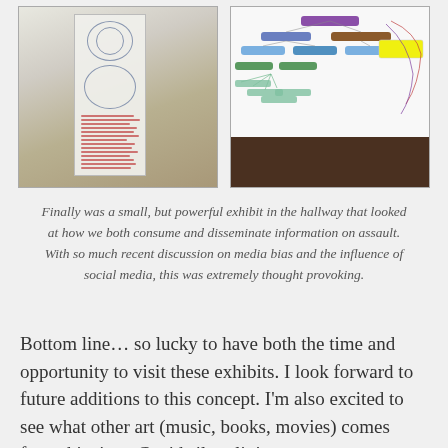[Figure (photo): Photo of a tall vertical banner/poster with circular diagrams and red text lines displayed in a hallway with wooden floor]
[Figure (photo): Photo of a colorful mind map diagram with colored nodes connected by lines, placed on a dark brown surface]
Finally was a small, but powerful exhibit in the hallway that looked at how we both consume and disseminate information on assault. With so much recent discussion on media bias and the influence of social media, this was extremely thought provoking.
Bottom line… so lucky to have both the time and opportunity to visit these exhibits. I look forward to future additions to this concept. I'm also excited to see what other art (music, books, movies) comes from this time. Covid silver linings.